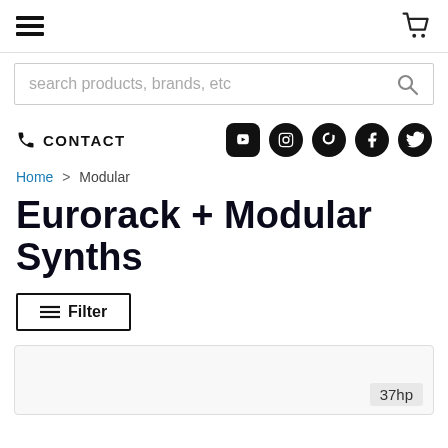Navigation bar with hamburger menu and cart icon
search products, brands, etc
CONTACT
Home > Modular
Eurorack + Modular Synths
Filter
37hp